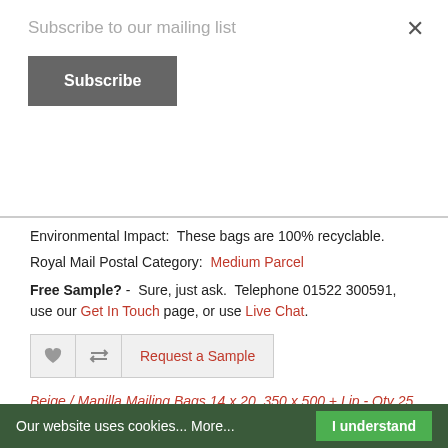Subscribe to our mailing list
Subscribe
Environmental Impact:  These bags are 100% recyclable.
Royal Mail Postal Category:  Medium Parcel
Free Sample? -  Sure, just ask.  Telephone 01522 300591, use our Get In Touch page, or use Live Chat.
Request a Sample
Beige / Manilla Mailing Bags 14 x 20, 350 x 500 + Lip - Qty 25
Product Code: PPP-BEIGE-4
Brand: Poly Postal Packaging Ltd
Sold in units of: 25 Bags
Approx. weight per unit: 0.65 Kg
Views: 64881
Our website uses cookies... More...  I understand